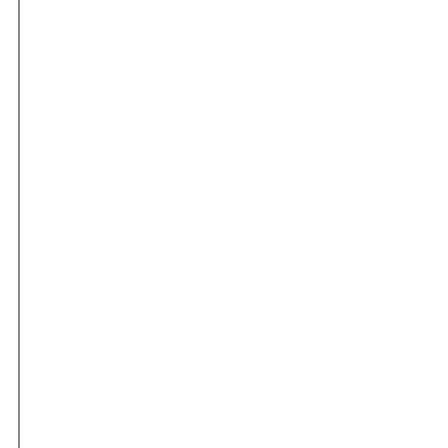the loosest possible se... stereotyped that had t... face it couldn't have be... Made on the cheap by... this is "The Beverly H... homegirls. They go to... rap video but end up s... millionaire (Martin La... greedy nephew. Nothi... sight gags and reaction...
"Starship Troopers." galactic proportions, d... Verhoeven proves he d... even worse than "Show... between humans and g... sleep-inducing love liv... soldiers -- this flick wa... every moth-ridden clic... filmdom and relies hea... teenage girls and recyc... for what it deems exci...
"Event Horizon." A m... resurfaces around Nep... unnecessarily gory ter...